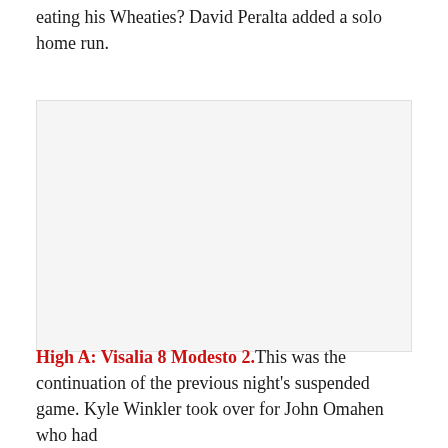eating his Wheaties? David Peralta added a solo home run.
[Figure (photo): A blank or mostly white image placeholder region]
High A: Visalia 8 Modesto 2. This was the continuation of the previous night's suspended game. Kyle Winkler took over for John Omahen who had